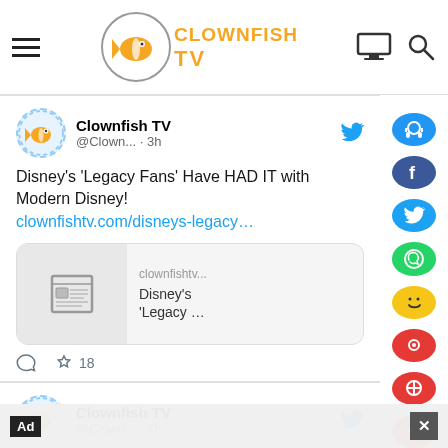Clownfish TV - navigation bar with hamburger menu, logo, monitor icon, search icon
[Figure (screenshot): Tweet from Clownfish TV account (@Clown...) posted 3h ago with text: Disney's 'Legacy Fans' Have HAD IT with Modern Disney! clownfishtv.com/disneys-legacy… with a link preview card showing Disney's Legacy ... article, and 18 likes]
[Figure (screenshot): Partial tweet from Clownfish TV (@Clown...) posted 7h ago: The LECTURE of the Rings: The Media Values Diversity Over Quality...]
Ad banner at bottom of page